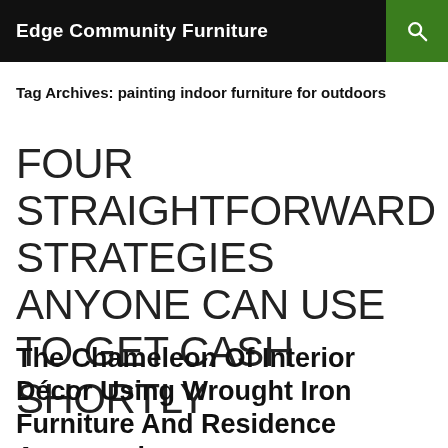Edge Community Furniture
Tag Archives: painting indoor furniture for outdoors
FOUR STRAIGHTFORWARD STRATEGIES ANYONE CAN USE TO GET CASH SHORTLY
The Chameleon Of Interior Décor Using Wrought Iron Furniture And Residence Accessories